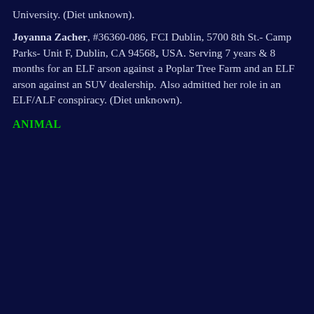University. (Diet unknown).
Joyanna Zacher, #36360-086, FCI Dublin, 5700 8th St.- Camp Parks- Unit F, Dublin, CA 94568, USA. Serving 7 years & 8 months for an ELF arson against a Poplar Tree Farm and an ELF arson against an SUV dealership. Also admitted her role in an ELF/ALF conspiracy. (Diet unknown).
ANIMAL